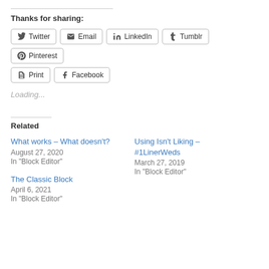Thanks for sharing:
Twitter | Email | LinkedIn | Tumblr | Pinterest | Print | Facebook (share buttons)
Loading...
Related
What works – What doesn't?
August 27, 2020
In "Block Editor"
Using Isn't Liking – #1LinerWeds
March 27, 2019
In "Block Editor"
The Classic Block
April 6, 2021
In "Block Editor"